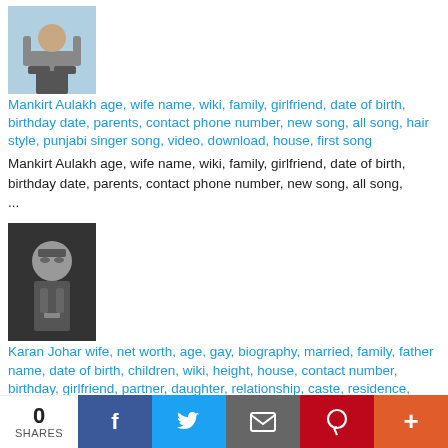[Figure (photo): Photo of Mankirt Aulakh sitting outdoors in casual grey outfit]
Mankirt Aulakh age, wife name, wiki, family, girlfriend, date of birth, birthday date, parents, contact phone number, new song, all song, hair style, punjabi singer song, video, download, house, first song
Mankirt Aulakh age, wife name, wiki, family, girlfriend, date of birth, birthday date, parents, contact phone number, new song, all song, ...
[Figure (photo): Black and white photo of Karan Johar wearing glasses]
Karan Johar wife, net worth, age, gay, biography, married, family, father name, date of birth, children, wiki, height, house, contact number, birthday, girlfriend, partner, daughter, relationship, caste, residence, parents, religion, wedding, brother, boyfriend, gender, yash johar, affairs, movies and tv shows, kajol, book, video, autobiography, new latest upcoming movies, production office address, director, first movie, new show, films directed by, twinkle khanna, dance, koffee with karan, in ddlj, next movie, twitter, instagram